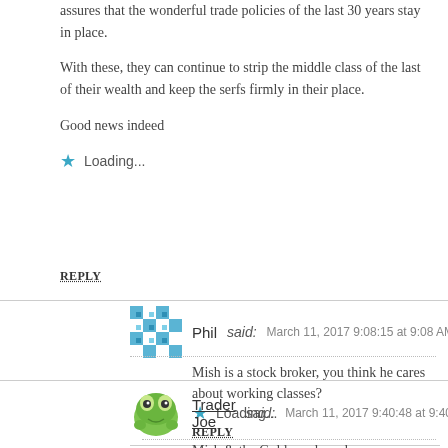assures that the wonderful trade policies of the last 30 years stay in place.
With these, they can continue to strip the middle class of the last of their wealth and keep the serfs firmly in their place.
Good news indeed
Loading...
REPLY
Phil said: March 11, 2017 9:08:15 at 9:08 AM
Mish is a stock broker, you think he cares about working classes?
Loading...
REPLY
Trader Joe said: March 11, 2017 9:40:48 at 9:40 AM
Mish & the Goldman boys have a common thread... care to guess